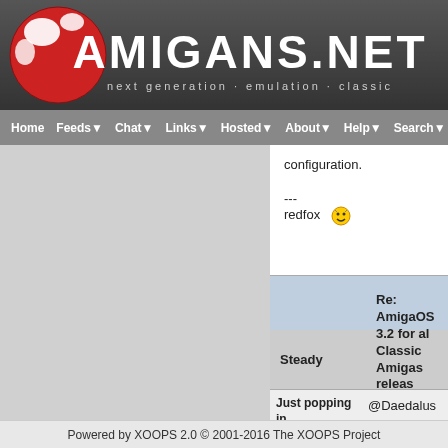[Figure (screenshot): Amigans.net website header with logo ball and site title]
Home  Feeds  Chat  Links  Hosted  About  Help  Search
configuration.
---
redfox
Steady
Re: AmigaOS 3.2 for all Classic Amigas released and available
Just popping in
@Daedalus
Yes, you are correct. Th... Daedalus.
Powered by XOOPS 2.0 © 2001-2016 The XOOPS Project